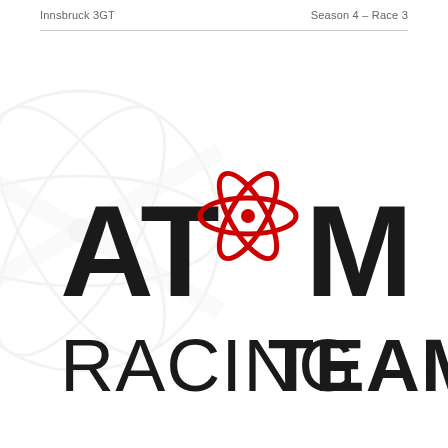Innsbruck 3GT   Season 4 – Race 3
[Figure (logo): ATOM Racing Team logo with red atomic orbit symbol replacing the O, large bold black lettering reading AT[atom]M on top line and RACING TEAM on bottom line, with a faint gray atom watermark in background]